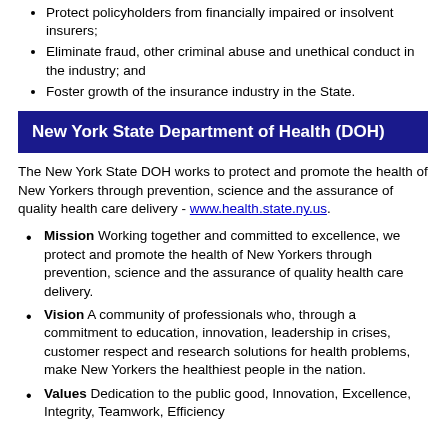Protect policyholders from financially impaired or insolvent insurers;
Eliminate fraud, other criminal abuse and unethical conduct in the industry; and
Foster growth of the insurance industry in the State.
New York State Department of Health (DOH)
The New York State DOH works to protect and promote the health of New Yorkers through prevention, science and the assurance of quality health care delivery - www.health.state.ny.us.
Mission Working together and committed to excellence, we protect and promote the health of New Yorkers through prevention, science and the assurance of quality health care delivery.
Vision A community of professionals who, through a commitment to education, innovation, leadership in crises, customer respect and research solutions for health problems, make New Yorkers the healthiest people in the nation.
Values Dedication to the public good, Innovation, Excellence, Integrity, Teamwork, Efficiency